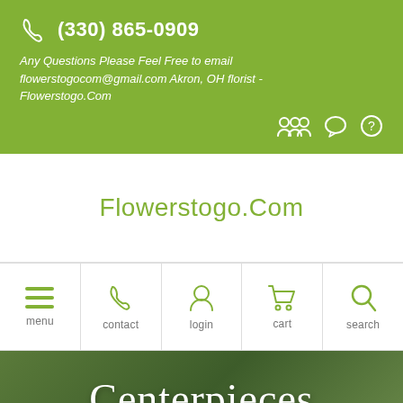(330) 865-0909
Any Questions Please Feel Free to email flowerstogocom@gmail.com Akron, OH florist - Flowerstogo.Com
Flowerstogo.Com
[Figure (other): Navigation bar with five icons: menu (hamburger), contact (phone), login (person), cart (shopping cart), search (magnifying glass), each labeled below in grey text]
Centerpieces